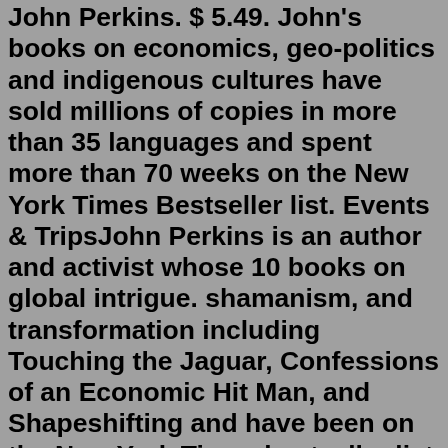John Perkins. $ 5.49. John's books on economics, geo-politics and indigenous cultures have sold millions of copies in more than 35 languages and spent more than 70 weeks on the New York Times Bestseller list. Events & TripsJohn Perkins is an author and activist whose 10 books on global intrigue. shamanism, and transformation including Touching the Jaguar, Confessions of an Economic Hit Man, and Shapeshifting and have been on the New York Times bestseller list for more than 70 weeks, sold over 2 million copies and are published in 35 languages. As chief economist.John Perkins has written nine books that have been on the New York Times bestseller list for more than seventy weeks and translated into over thirty languages. - As Chief Economist at a major international consulting firm, John Perkins advised the World Bank, United Nations, IMF, U.S. Treasury Department, Fortune 500 corporations, and leaders ...Advertisement: Economic hit men like him, Perkins argues, have long operated within the United States, reducing local economies to rubble to generate profits